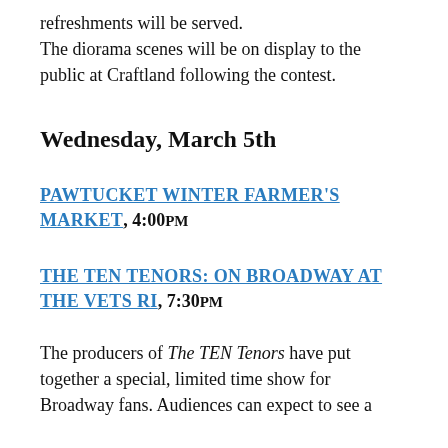refreshments will be served. The diorama scenes will be on display to the public at Craftland following the contest.
Wednesday, March 5th
PAWTUCKET WINTER FARMER'S MARKET, 4:00PM
THE TEN TENORS: ON BROADWAY AT THE VETS RI, 7:30PM
The producers of The TEN Tenors have put together a special, limited time show for Broadway fans. Audiences can expect to see a